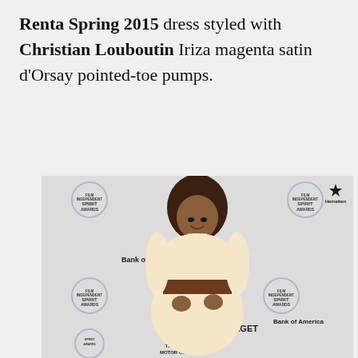Renta Spring 2015 dress styled with Christian Louboutin Iriza magenta satin d'Orsay pointed-toe pumps.
[Figure (photo): A woman in a cream dress with a wide belt posing in front of a Film Independent Spirit Awards 30th anniversary step-and-repeat backdrop featuring sponsors including Bank of America, American Airlines, Heineken, Piaget, and The Lincoln Motor Company.]